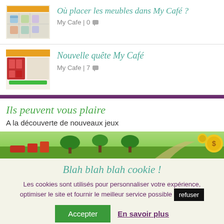[Figure (screenshot): Thumbnail of My Cafe game furniture placement screenshot]
Où placer les meubles dans My Café ?
My Cafe | 0 💬
[Figure (screenshot): Thumbnail of My Cafe new quest screenshot]
Nouvelle quête My Café
My Cafe | 7 💬
Ils peuvent vous plaire
A la découverte de nouveaux jeux
[Figure (screenshot): Banner image of a farming/garden game]
Blah blah blah cookie !
Les cookies sont utilisés pour personnaliser votre expérience, optimiser le site et fournir le meilleur service possible
Accepter  En savoir plus  refuser